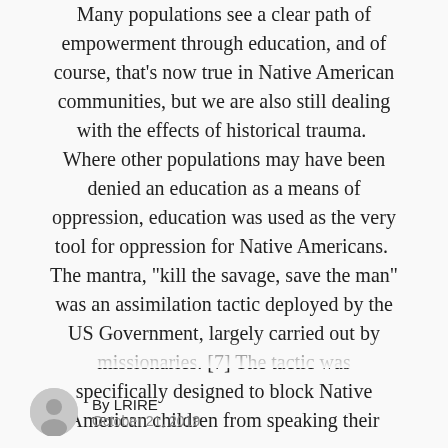Many populations see a clear path of empowerment through education, and of course, that's now true in Native American communities, but we are also still dealing with the effects of historical trauma. Where other populations may have been denied an education as a means of oppression, education was used as the very tool for oppression for Native Americans. The mantra, "kill the savage, save the man" was an assimilation tactic deployed by the US Government, largely carried out by missionaries. [7] The tactic was specifically designed to block Native American children from speaking their
By LRIRE
October 21, 2019